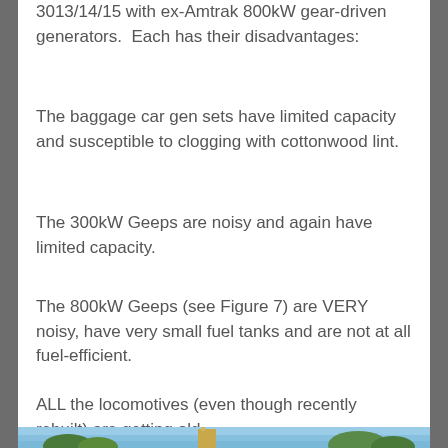3013/14/15 with ex-Amtrak 800kW gear-driven generators.  Each has their disadvantages:
The baggage car gen sets have limited capacity and susceptible to clogging with cottonwood lint.
The 300kW Geeps are noisy and again have limited capacity.
The 800kW Geeps (see Figure 7) are VERY noisy, have very small fuel tanks and are not at all fuel-efficient.
ALL the locomotives (even though recently rebuilt) are getting old.
[Figure (photo): Outdoor photograph showing a building/tower with trees and blue sky in the background]